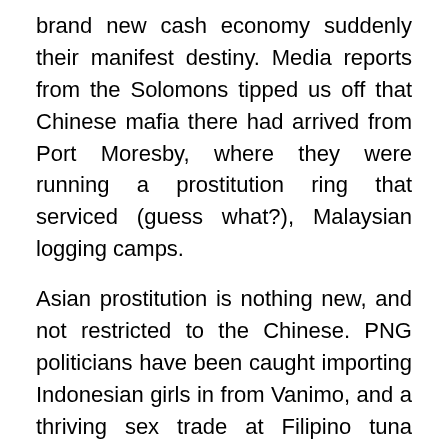brand new cash economy suddenly their manifest destiny. Media reports from the Solomons tipped us off that Chinese mafia there had arrived from Port Moresby, where they were running a prostitution ring that serviced (guess what?), Malaysian logging camps.
Asian prostitution is nothing new, and not restricted to the Chinese. PNG politicians have been caught importing Indonesian girls in from Vanimo, and a thriving sex trade at Filipino tuna boats has been operating for years now.
In November last year 104 illegal Chinese mine workers were arrested in immigration and labour raids. At the end of the year, a minister in the Solomon Islands, Clement Rojumana, was arrested over his alleged role in the corrupt granting of citizenship certificates to Chinese. In Fiji it is estimated that 7000 illegal Chinese had entered in